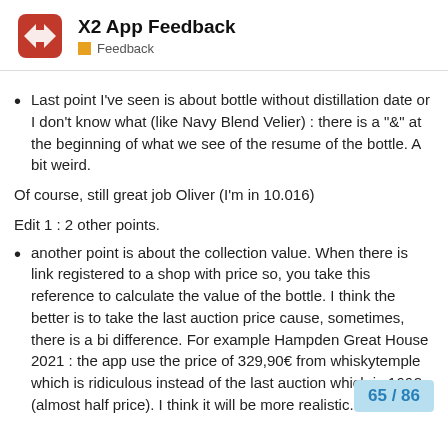X2 App Feedback — Feedback
Last point I've seen is about bottle without distillation date or I don't know what (like Navy Blend Velier) : there is a "&" at the beginning of what we see of the resume of the bottle. A bit weird.
Of course, still great job Oliver (I'm in 10.016)
Edit 1 : 2 other points.
another point is about the collection value. When there is link registered to a shop with price so, you take this reference to calculate the value of the bottle. I think the better is to take the last auction price cause, sometimes, there is a bi difference. For example Hampden Great House 2021 : the app use the price of 329,90€ from whiskytemple which is ridiculous instead of the last auction which is 166€ (almost half price). I think it will be more realistic.
65 / 86